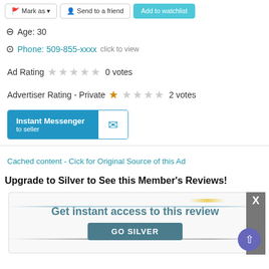Mark as | Send to a friend | Add to watchlist
Age: 30
Phone: 509-855-xxxx click to view
Ad Rating ☆☆☆☆☆ 0 votes
Advertiser Rating - Private ★☆☆☆☆ 2 votes
Instant Messenger to seller
Cached content - Cick for Original Source of this Ad
Upgrade to Silver to See this Member's Reviews!
[Figure (screenshot): Promotional banner: 'Get instant access to this review' with a 'GO SILVER' button]